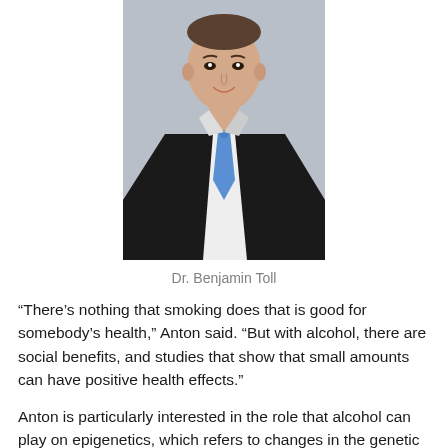[Figure (photo): Professional headshot of Dr. Benjamin Toll, a man in a dark suit with a blue tie and white shirt, smiling, against a grey background.]
Dr. Benjamin Toll
“There’s nothing that smoking does that is good for somebody’s health,” Anton said. “But with alcohol, there are social benefits, and studies that show that small amounts can have positive health effects.”
Anton is particularly interested in the role that alcohol can play on epigenetics, which refers to changes in the genetic structure that is caused by interaction with the environment and a person’s